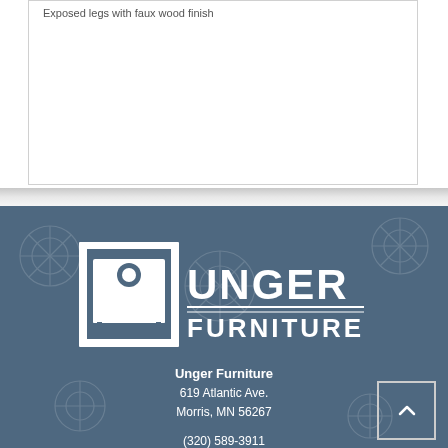Exposed legs with faux wood finish
[Figure (logo): Unger Furniture logo — white sofa silhouette icon on left with 'UNGER FURNITURE' text on right, on dark blue-grey background]
Unger Furniture
619 Atlantic Ave.
Morris, MN 56267
(320) 589-3911